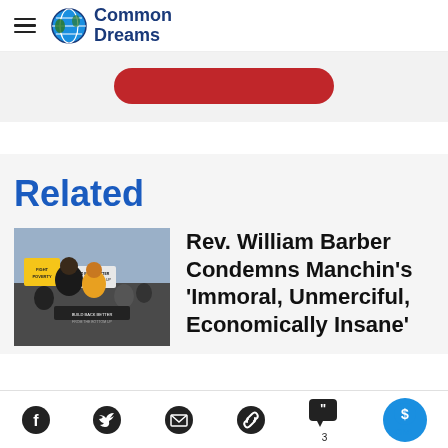Common Dreams
[Figure (other): Red rounded button/banner element]
Related
[Figure (photo): Rev. William Barber at protest rally holding signs including 'Fight Poverty' and 'Build Back Better From the Bottom Up']
Rev. William Barber Condemns Manchin's 'Immoral, Unmerciful, Economically Insane'
Facebook, Twitter, Email, Link, Comments (3), GIVE